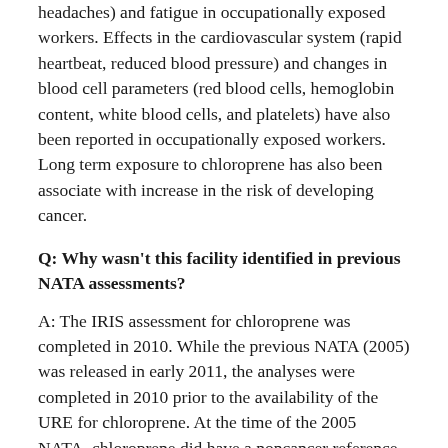headaches) and fatigue in occupationally exposed workers. Effects in the cardiovascular system (rapid heartbeat, reduced blood pressure) and changes in blood cell parameters (red blood cells, hemoglobin content, white blood cells, and platelets) have also been reported in occupationally exposed workers. Long term exposure to chloroprene has also been associate with increase in the risk of developing cancer.
Q: Why wasn't this facility identified in previous NATA assessments?
A: The IRIS assessment for chloroprene was completed in 2010. While the previous NATA (2005) was released in early 2011, the analyses were completed in 2010 prior to the availability of the URE for chloroprene. At the time of the 2005 NATA, chloroprene did have a noncancer reference concentration – a measure of potency for pollutants with effects other than cancer – and that